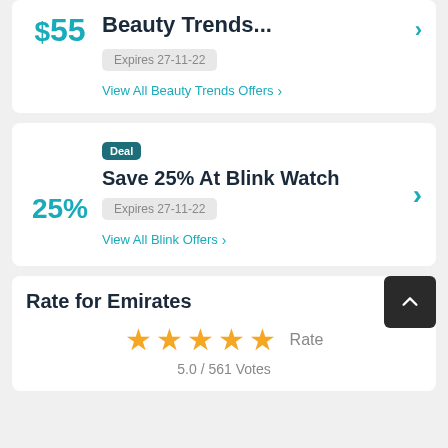Expires 27-11-22
View All Beauty Trends Offers >
Deal
Save 25% At Blink Watch
Expires 27-11-22
View All Blink Offers >
Rate for Emirates
★★★★★ Rate
5.0 / 561 Votes